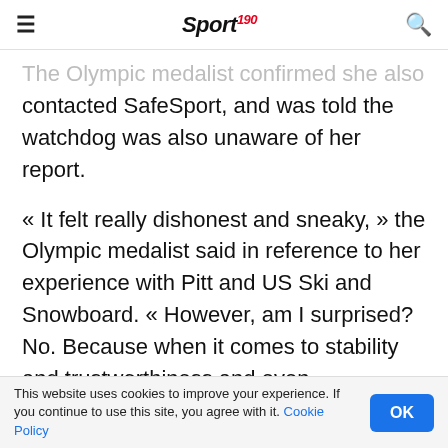Sport 190
The Olympic medalist confirmed she also then contacted SafeSport, and was told the watchdog was also unaware of her report.
« It felt really dishonest and sneaky, » the Olympic medalist said in reference to her experience with Pitt and US Ski and Snowboard. « However, am I surprised? No. Because when it comes to stability and trustworthiness and even transparency or accountability, [U.S. Ski and Snowboard] has never been known to exhibit any of those traits. »
This website uses cookies to improve your experience. If you continue to use this site, you agree with it. Cookie Policy